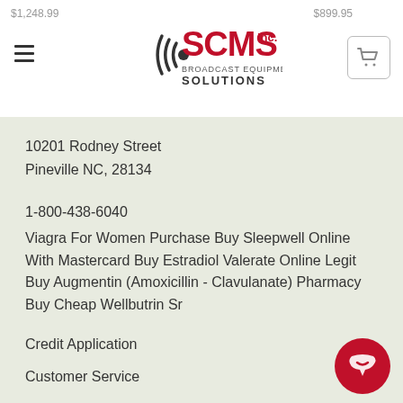$1,248.99   $899.95
[Figure (logo): SCMS Inc. Broadcast Equipment Solutions logo with stylized signal waves icon]
10201 Rodney Street
Pineville NC, 28134
1-800-438-6040
Viagra For Women Purchase Buy Sleepwell Online With Mastercard Buy Estradiol Valerate Online Legit Buy Augmentin (Amoxicillin - Clavulanate) Pharmacy Buy Cheap Wellbutrin Sr
Credit Application
Customer Service
Financing